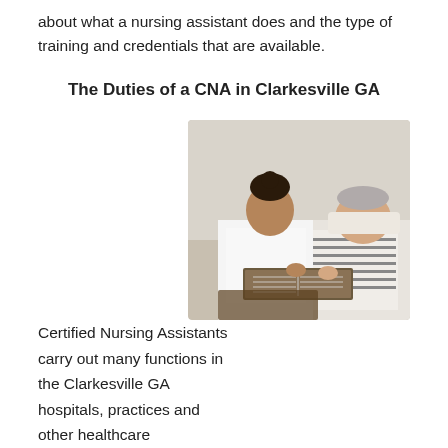about what a nursing assistant does and the type of training and credentials that are available.
The Duties of a CNA in Clarkesville GA
Certified Nursing Assistants carry out many functions in the Clarkesville GA hospitals, practices and other healthcare organizations where they are employed. Per their title, CNAs are not licensed by the state but instead are certified. Because they are not licensed, they perform under the direction and supervision of either a licensed LPN or RN. And as nursing assistants, their prime job duty is to assist the
[Figure (photo): A nursing assistant in white scrubs sitting beside an elderly man in a hospital bed, reading a book together.]